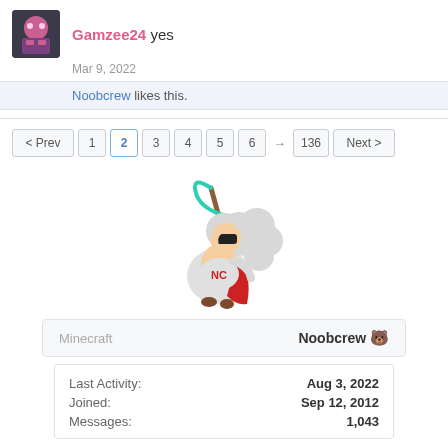Gamzee24 yes
Mar 9, 2022
Noobcrew likes this.
< Prev  1  2  3  4  5  6  →  136  Next >
[Figure (illustration): Cartoon mascot sheep character holding a scythe with a red cape, wearing a white fluffy costume with 'NC' text]
Minecraft   Noobcrew
| Last Activity: | Aug 3, 2022 |
| Joined: | Sep 12, 2012 |
| Messages: | 1,043 |